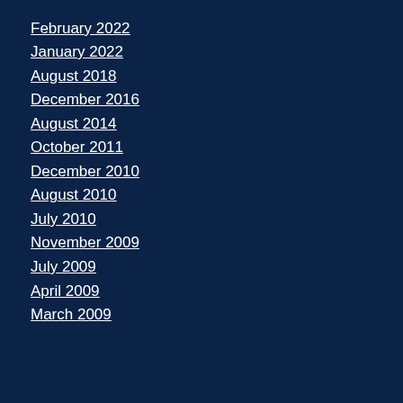February 2022
January 2022
August 2018
December 2016
August 2014
October 2011
December 2010
August 2010
July 2010
November 2009
July 2009
April 2009
March 2009